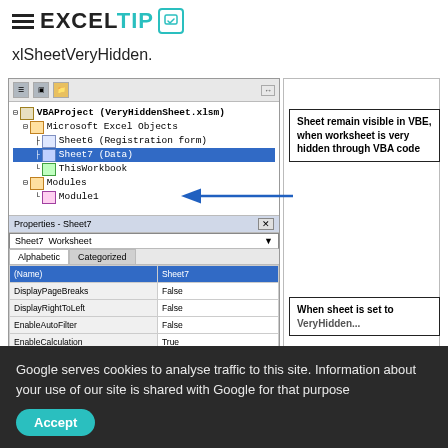[Figure (logo): ExcelTip logo with hamburger menu icon and teal chat bubble icon]
xlSheetVeryHidden.
[Figure (screenshot): VBE (Visual Basic Editor) screenshot showing VBAProject (VeryHiddenSheet.xlsm) tree with Microsoft Excel Objects containing Sheet6 (Registration form), Sheet7 (Data) selected, ThisWorkbook, and Modules > Module1. Properties panel shows Sheet7 Worksheet properties. Annotation boxes: 'Sheet remain visible in VBE, when worksheet is very hidden through VBA code' and 'When sheet is set to VeryHidden...']
Google serves cookies to analyse traffic to this site. Information about your use of our site is shared with Google for that purpose
Accept